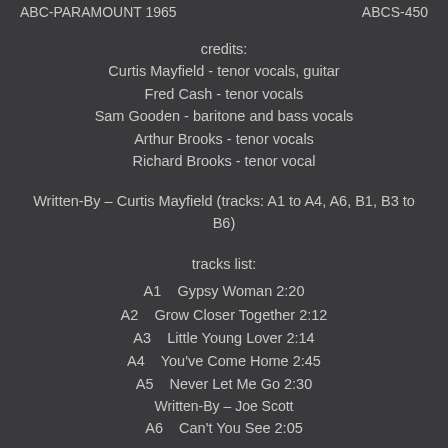ABC-PARAMOUNT 1965   ABCS-450
credits:
Curtis Mayfield - tenor vocals, guitar
Fred Cash - tenor vocals
Sam Gooden - baritone and bass vocals
Arthur Brooks - tenor vocals
Richard Brooks - tenor vocal
Written-By – Curtis Mayfield (tracks: A1 to A4, A6, B1, B3 to B6)
tracks list:
A1    Gypsy Woman 2:20
A2    Grow Closer Together 2:12
A3    Little Young Lover 2:14
A4    You've Come Home 2:45
A5    Never Let Me Go 2:30
Written-By – Joe Scott
A6    Can't You See 2:05